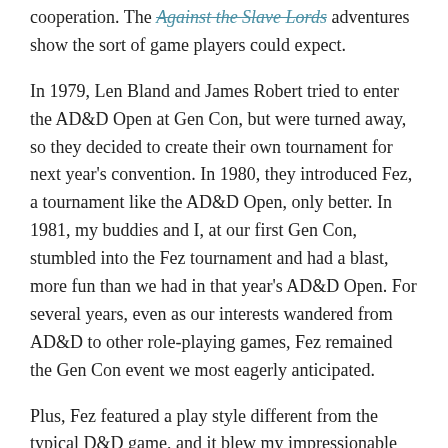cooperation. The Against the Slave Lords adventures show the sort of game players could expect.
In 1979, Len Bland and James Robert tried to enter the AD&D Open at Gen Con, but were turned away, so they decided to create their own tournament for next year's convention. In 1980, they introduced Fez, a tournament like the AD&D Open, only better. In 1981, my buddies and I, at our first Gen Con, stumbled into the Fez tournament and had a blast, more fun than we had in that year's AD&D Open. For several years, even as our interests wandered from AD&D to other role-playing games, Fez remained the Gen Con event we most eagerly anticipated.
Plus, Fez featured a play style different from the typical D&D game, and it blew my impressionable mind.
Fez I: Wizard's Vale sets a pattern the
[Figure (illustration): Black and white illustration, partially visible, showing what appears to be a figure, with high contrast ink style on a cream/beige background.]